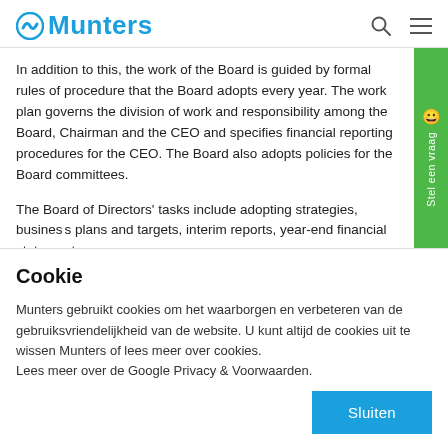Munters
In addition to this, the work of the Board is guided by formal rules of procedure that the Board adopts every year. The work plan governs the division of work and responsibility among the Board, Chairman and the CEO and specifies financial reporting procedures for the CEO. The Board also adopts policies for the Board committees.
The Board of Directors' tasks include adopting strategies, business plans and targets, interim reports, year-end financial statements
Cookie
Munters gebruikt cookies om het waarborgen en verbeteren van de gebruiksvriendelijkheid van de website. U kunt altijd de cookies uit te wissen Munters of lees meer over cookies.
Lees meer over de Google Privacy & Voorwaarden.
Sluiten